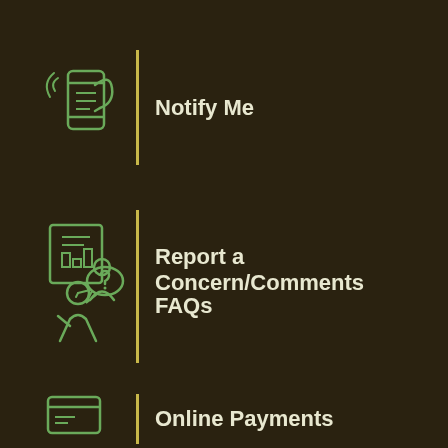Notify Me
Report a Concern/Comments
FAQs
Online Payments